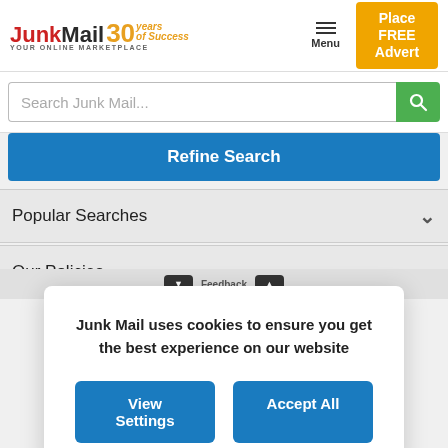[Figure (logo): JunkMail 30 Years of Success logo with tagline YOUR ONLINE MARKETPLACE]
[Figure (screenshot): Menu hamburger button with Menu label]
[Figure (screenshot): Place FREE Advert button in yellow/orange]
Search Junk Mail...
Refine Search
Popular Searches
Our Policies
Junk Mail uses cookies to ensure you get the best experience on our website
View Settings
Accept All